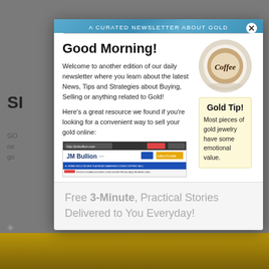A CURATED NEWSLETTER ABOUT GOLD
Good Morning!
Welcome to another edition of our daily newsletter where you learn about the latest News, Tips and Strategies about Buying, Selling or anything related to Gold!
Here's a great resource we found if you're looking for a convenient way to sell your gold online:
[Figure (photo): Cup of coffee with latte art spelling 'Coffee' viewed from above]
[Figure (screenshot): Screenshot of JM Bullion website homepage]
Gold Tip!
Most pieces of gold jewelry have some emotional value.
Free 3-Minute, Practical Stories Delivered to You Everyday!